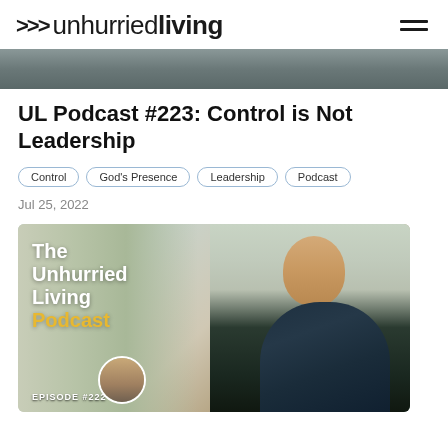>>> unhurriedliving
[Figure (photo): Partial hero image at top showing outdoor scene]
UL Podcast #223: Control is Not Leadership
Control
God's Presence
Leadership
Podcast
Jul 25, 2022
[Figure (photo): The Unhurried Living Podcast promotional image showing a bald smiling man in a dark blazer outdoors, with text overlay reading 'The Unhurried Living Podcast' and 'EPISODE #222']